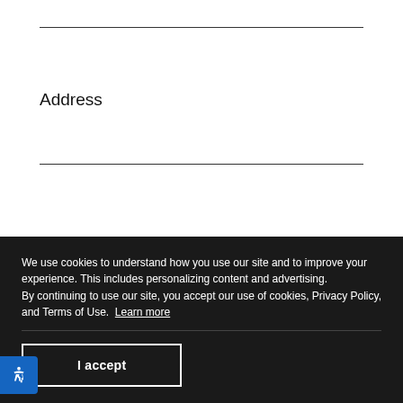Address
City
State
Zip
Select
We use cookies to understand how you use our site and to improve your experience. This includes personalizing content and advertising.
By continuing to use our site, you accept our use of cookies, Privacy Policy, and Terms of Use. Learn more
I accept